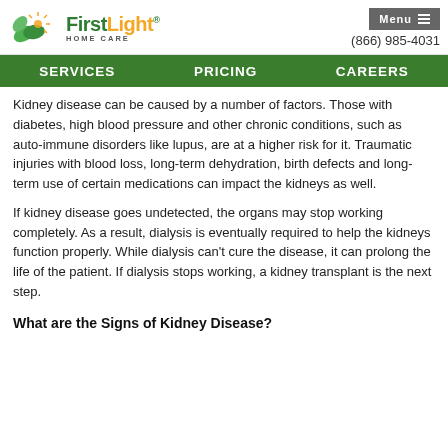[Figure (logo): FirstLight Home Care logo with green leaf and sunshine graphic]
Menu  (866) 985-4031
SERVICES   PRICING   CAREERS
Kidney disease can be caused by a number of factors. Those with diabetes, high blood pressure and other chronic conditions, such as auto-immune disorders like lupus, are at a higher risk for it. Traumatic injuries with blood loss, long-term dehydration, birth defects and long-term use of certain medications can impact the kidneys as well.
If kidney disease goes undetected, the organs may stop working completely. As a result, dialysis is eventually required to help the kidneys function properly. While dialysis can't cure the disease, it can prolong the life of the patient. If dialysis stops working, a kidney transplant is the next step.
What are the Signs of Kidney Disease?